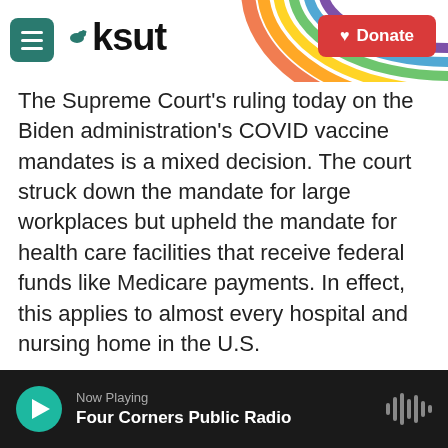KSUT
The Supreme Court's ruling today on the Biden administration's COVID vaccine mandates is a mixed decision. The court struck down the mandate for large workplaces but upheld the mandate for health care facilities that receive federal funds like Medicare payments. In effect, this applies to almost every hospital and nursing home in the U.S.
NPR health correspondent Rhitu Chatterjee joins us now to talk more about nursing homes, which, like hospitals, have been battered by the omicron surge. Hey, Rhitu.
Now Playing — Four Corners Public Radio